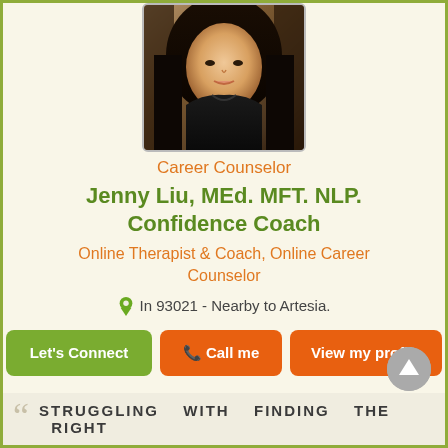[Figure (photo): Headshot photo of a young Asian woman with long dark hair wearing a black jacket, photographed outdoors with a blurred natural background]
Career Counselor
Jenny Liu, MEd. MFT. NLP. Confidence Coach
Online Therapist & Coach, Online Career Counselor
In 93021 - Nearby to Artesia.
Let's Connect
Call me
View my profile
STRUGGLING WITH FINDING THE RIGHT